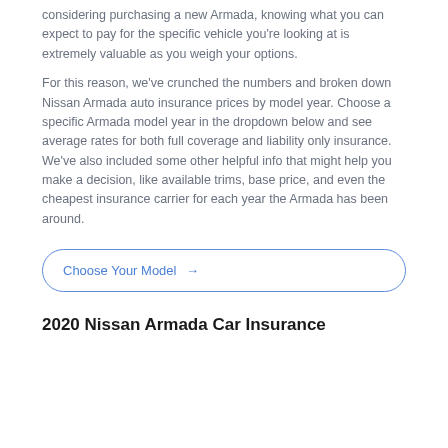considering purchasing a new Armada, knowing what you can expect to pay for the specific vehicle you're looking at is extremely valuable as you weigh your options.
For this reason, we've crunched the numbers and broken down Nissan Armada auto insurance prices by model year. Choose a specific Armada model year in the dropdown below and see average rates for both full coverage and liability only insurance. We've also included some other helpful info that might help you make a decision, like available trims, base price, and even the cheapest insurance carrier for each year the Armada has been around.
Choose Your Model →
2020 Nissan Armada Car Insurance